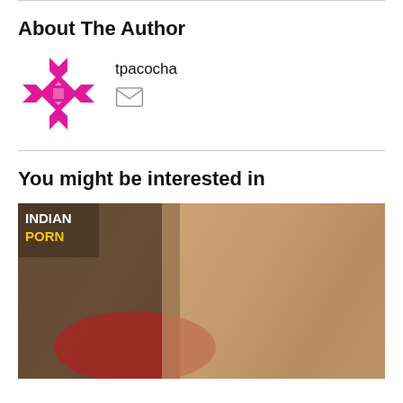About The Author
[Figure (logo): Author avatar: pink/magenta decorative cross/star shape logo]
tpacocha
[Figure (illustration): Envelope/email icon]
You might be interested in
[Figure (photo): Thumbnail image with 'INDIAN PORN' text overlay in top left corner]